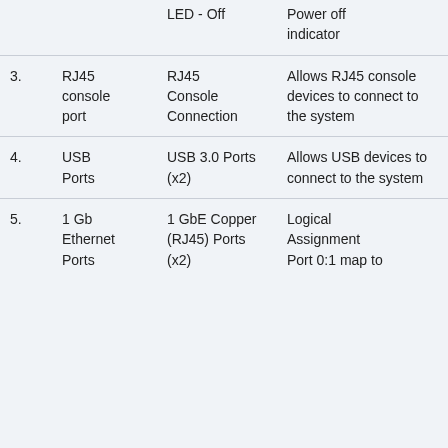| # | Component | Label | Description |
| --- | --- | --- | --- |
|  |  | LED - Off | Power off indicator |
| 3. | RJ45 console port | RJ45 Console Connection | Allows RJ45 console devices to connect to the system |
| 4. | USB Ports | USB 3.0 Ports (x2) | Allows USB devices to connect to the system |
| 5. | 1 Gb Ethernet Ports | 1 GbE Copper (RJ45) Ports (x2) | Logical Assignment Port 0:1 map to |